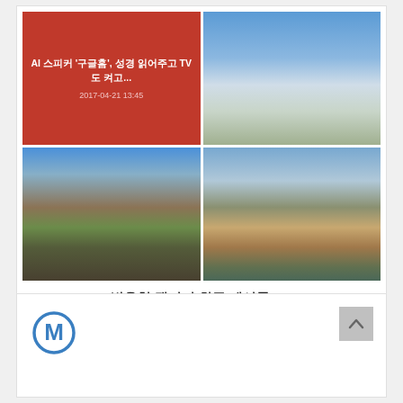[Figure (screenshot): Product listing card showing a 2x2 gallery grid. Top-left: red background with Korean text 'AI 스피커 구글홈, 성경 읽어주고 TV도 켜고...' and date '2017-04-21 13:45'. Top-right: Mountain/sky photo. Bottom-left: Mountain village photo. Bottom-right: European city with church tower photo.]
반응형 갤러리 최근 게시물 M9
7,700원
[Figure (logo): Circular M logo with blue outline and letter M inside, and a grey up-arrow button in the top-right corner of the card.]